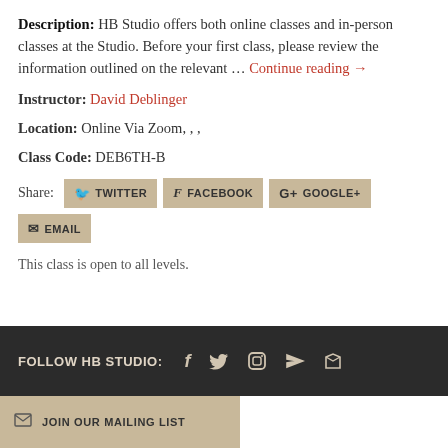Description: HB Studio offers both online classes and in-person classes at the Studio. Before your first class, please review the information outlined on the relevant … Continue reading →
Instructor: David Deblinger
Location: Online Via Zoom, , ,
Class Code: DEB6TH-B
Share: TWITTER FACEBOOK GOOGLE+ EMAIL
This class is open to all levels.
FOLLOW HB STUDIO: [Facebook] [Twitter] [Instagram] [YouTube] [RSS]
JOIN OUR MAILING LIST